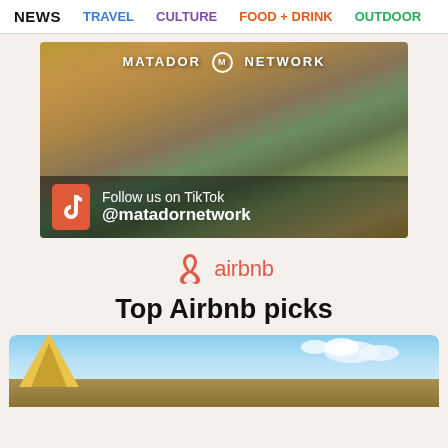NEWS  TRAVEL  CULTURE  FOOD + DRINK  OUTDOOR
[Figure (photo): Matador Network TikTok promotional banner showing couple at tropical location with TikTok follow call-to-action overlay: 'Follow us on TikTok @matadornetwork']
[Figure (logo): Airbnb logo with pink/coral airbnb symbol and text 'airbnb']
Top Airbnb picks
[Figure (photo): Bottom portion of an outdoor/tent scene with blue sky and clouds]